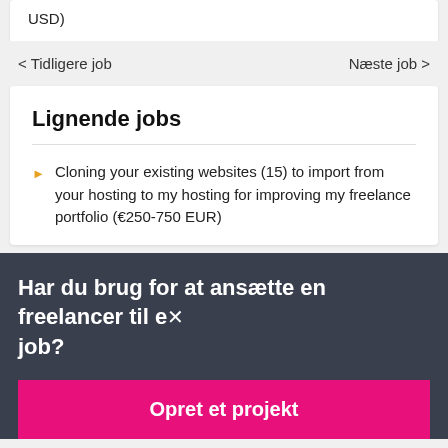USD)
< Tidligere job
Næste job >
Lignende jobs
Cloning your existing websites (15) to import from your hosting to my hosting for improving my freelance portfolio (€250-750 EUR)
Har du brug for at ansætte en freelancer til et job?
Opret et projekt